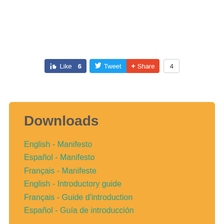[Figure (screenshot): Social media sharing buttons: Facebook Like (6), Twitter Tweet, Share (red), and share count (4)]
Downloads
English - Manifesto
Español - Manifesto
Français - Manifeste
English - Introductory guide
Français - Guide d'introduction
Español - Guía de introducción